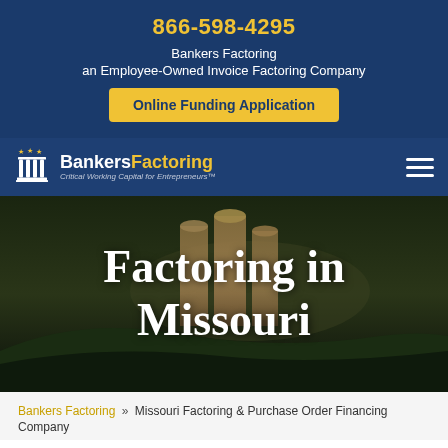866-598-4295
Bankers Factoring
an Employee-Owned Invoice Factoring Company
Online Funding Application
[Figure (logo): Bankers Factoring logo with pillar icon and stars, tagline: Critical Working Capital for Entrepreneurs™]
Factoring in Missouri
Bankers Factoring » Missouri Factoring & Purchase Order Financing Company